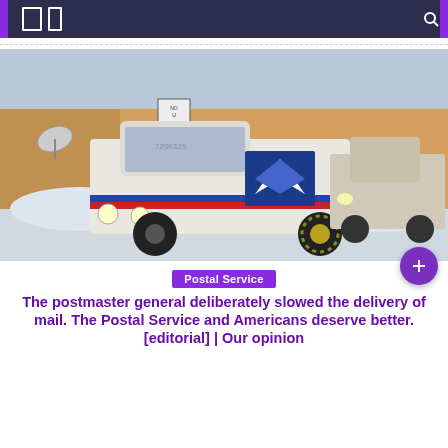[Figure (photo): A USPS mail delivery truck (white with red and blue stripe, number 7206329, www.usps.com visible) driving on a snowy road near a building, with another delivery truck visible in the background.]
Postal Service
The postmaster general deliberately slowed the delivery of mail. The Postal Service and Americans deserve better. [editorial] | Our opinion